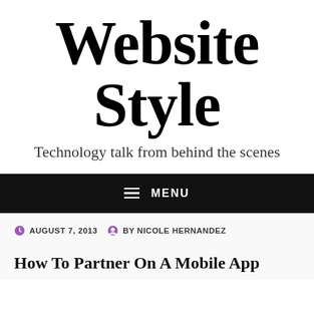Website Style
Technology talk from behind the scenes
MENU
AUGUST 7, 2013   BY NICOLE HERNANDEZ
How To Partner On A Mobile App